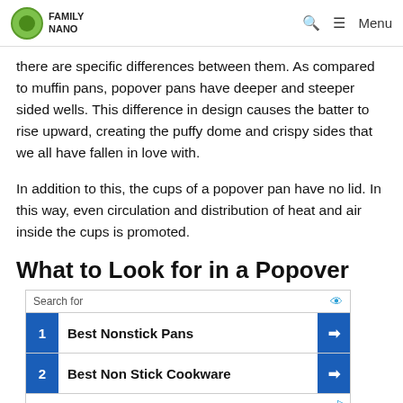FAMILY NANO | Menu
there are specific differences between them. As compared to muffin pans, popover pans have deeper and steeper sided wells. This difference in design causes the batter to rise upward, creating the puffy dome and crispy sides that we all have fallen in love with.
In addition to this, the cups of a popover pan have no lid. In this way, even circulation and distribution of heat and air inside the cups is promoted.
What to Look for in a Popover
[Figure (other): Advertisement box with 'Search for' label and two results: 1. Best Nonstick Pans, 2. Best Non Stick Cookware, with blue arrow buttons]